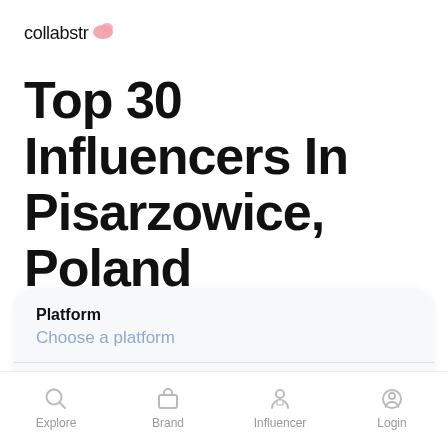collabstr
Top 30 Influencers In Pisarzowice, Poland
Work with the top 30 influencers in Pisarzowice, Poland on the world's largest influencer marketplace
Platform
Choose a platform
Category
Explore | Brand | Influencer | Login